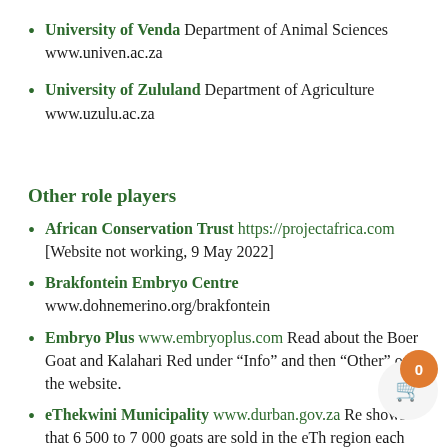University of Venda Department of Animal Sciences www.univen.ac.za
University of Zululand Department of Agriculture www.uzulu.ac.za
Other role players
African Conservation Trust https://projectafrica.com [Website not working, 9 May 2022]
Brakfontein Embryo Centre www.dohnemerino.org/brakfontein
Embryo Plus www.embryoplus.com Read about the Boer Goat and Kalahari Red under “Info” and then “Other” on the website.
eThekwini Municipality www.durban.gov.za Re... shows that 6 500 to 7 000 goats are sold in the eTh... region each week, a market that is begging to be